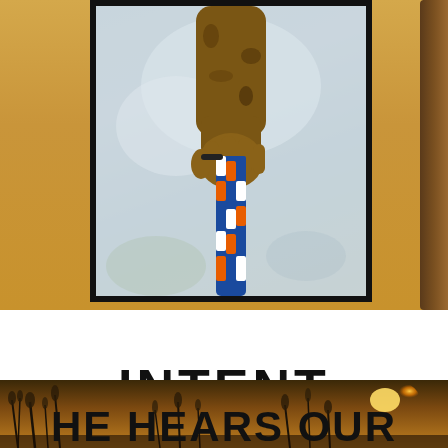[Figure (photo): Photo of a tattooed hand holding a blue, white, and orange braided rope/paracord, with a blurred outdoor background. The photo is displayed within a thick black frame/border. Behind the frame is a warm golden outdoor scene with what appears to be a tree trunk on the right edge.]
INTENT
[Figure (photo): Bottom strip photo showing a field of tall grass and wildflowers backlit by a warm golden sunset/sunrise light, with the sun visible on the right side.]
HE HEARS OUR